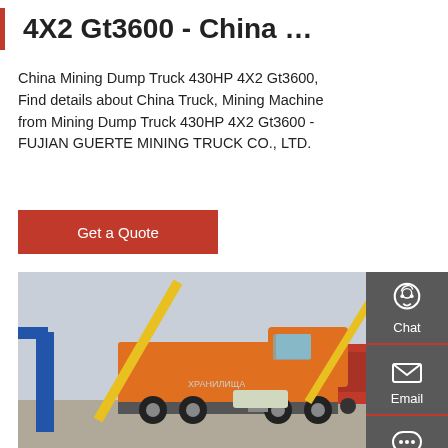4X2 Gt3600 - China …
China Mining Dump Truck 430HP 4X2 Gt3600, Find details about China Truck, Mining Machine from Mining Dump Truck 430HP 4X2 Gt3600 - FUJIAN GUERTE MINING TRUCK CO., LTD.
[Figure (screenshot): Red 'Get a Quote' button]
[Figure (photo): Large orange mining/dump truck at a logistics yard with yellow cranes and red trucks in the background]
[Figure (infographic): Dark grey sidebar with Chat (headset icon), Email (envelope icon), Contact (speech bubble icon), and Top (arrow up icon) navigation items]